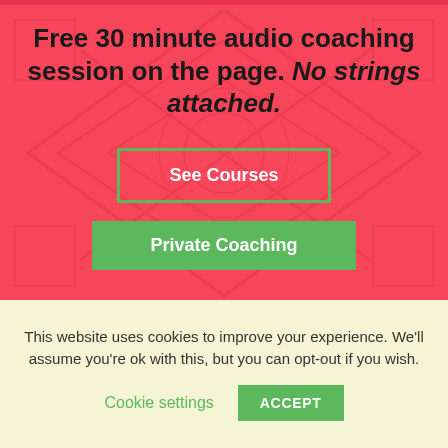Free 30 minute audio coaching session on the page. No strings attached.
See Courses
Private Coaching
October 8, 2020       , 1:56 pm
This website uses cookies to improve your experience. We'll assume you're ok with this, but you can opt-out if you wish.
Cookie settings
ACCEPT